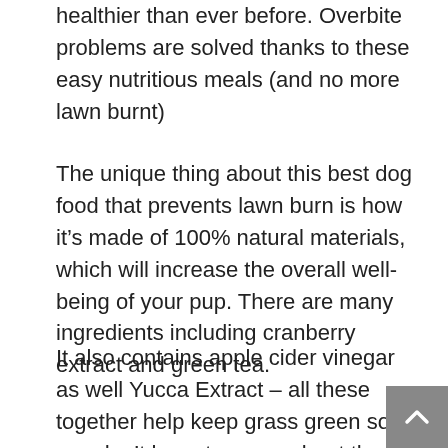healthier than ever before. Overbite problems are solved thanks to these easy nutritious meals (and no more lawn burnt)
The unique thing about this best dog food that prevents lawn burn is how it's made of 100% natural materials, which will increase the overall well-being of your pup. There are many ingredients including cranberry extract and green tea.
It also contains apple cider vinegar as well Yucca Extract – all these together help keep grass green so you don't have to worry about those pesky burns on their tongue when they eat too much greenery (or maybe our own fault). And inside Best Dog Foods there's a powerful enzymes blend designed specifically with digestive aid